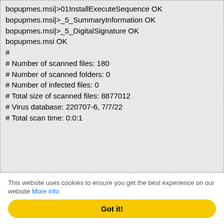bopupmes.msi|>01InstallExecuteSequence OK
bopupmes.msi|>_5_SummaryInformation OK
bopupmes.msi|>_5_DigitalSignature OK
bopupmes.msi OK
#
# Number of scanned files: 180
# Number of scanned folders: 0
# Number of infected files: 0
# Total size of scanned files: 8877012
# Virus database: 220707-6, 7/7/22
# Total scan time: 0:0:1
This website uses cookies to ensure you get the best experience on our website More info
Got it!